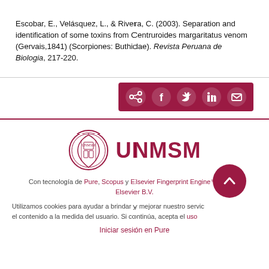Escobar, E., Velásquez, L., & Rivera, C. (2003). Separation and identification of some toxins from Centruroides margaritatus venom (Gervais,1841) (Scorpiones: Buthidae). Revista Peruana de Biologia, 217-220.
[Figure (other): Social share bar with share, Facebook, Twitter, LinkedIn, and email icons on dark red/maroon background]
[Figure (logo): UNMSM university crest/seal logo alongside bold maroon UNMSM text]
Con tecnología de Pure, Scopus y Elsevier Fingerprint Engine™ © 2022 Elsevier B.V.
Utilizamos cookies para ayudar a brindar y mejorar nuestro servicio y adaptar el contenido a la medida del usuario. Si continúa, acepta el uso de cookies.
Iniciar sesión en Pure